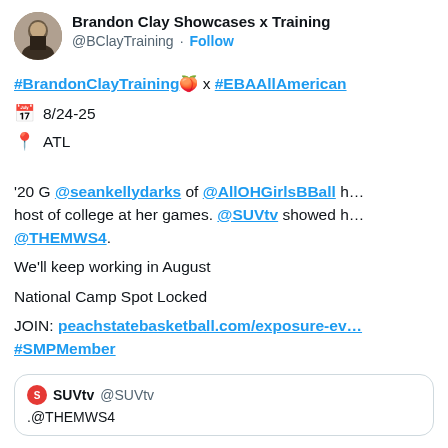Brandon Clay Showcases x Training @BClayTraining · Follow
#BrandonClayTraining🍑 x #EBAAllAmerican
📅 8/24-25
📍 ATL

'20 G @seankellydarks of @AllOHGirlsBBall h... host of college at her games. @SUVtv showed h... @THEMWS4.

We'll keep working in August

National Camp Spot Locked

JOIN: peachstatebasketball.com/exposure-ev... #SMPMember
SUVtv @SUVtv
.@THEMWS4